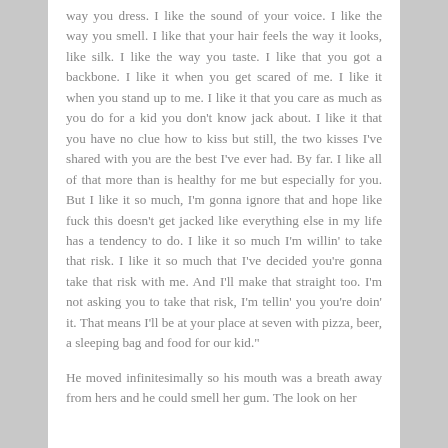way you dress. I like the sound of your voice. I like the way you smell. I like that your hair feels the way it looks, like silk. I like the way you taste. I like that you got a backbone. I like it when you get scared of me. I like it when you stand up to me. I like it that you care as much as you do for a kid you don't know jack about. I like it that you have no clue how to kiss but still, the two kisses I've shared with you are the best I've ever had. By far. I like all of that more than is healthy for me but especially for you. But I like it so much, I'm gonna ignore that and hope like fuck this doesn't get jacked like everything else in my life has a tendency to do. I like it so much I'm willin' to take that risk. I like it so much that I've decided you're gonna take that risk with me. And I'll make that straight too. I'm not asking you to take that risk, I'm tellin' you you're doin' it. That means I'll be at your place at seven with pizza, beer, a sleeping bag and food for our kid."
He moved infinitesimally so his mouth was a breath away from hers and he could smell her gum. The look on her